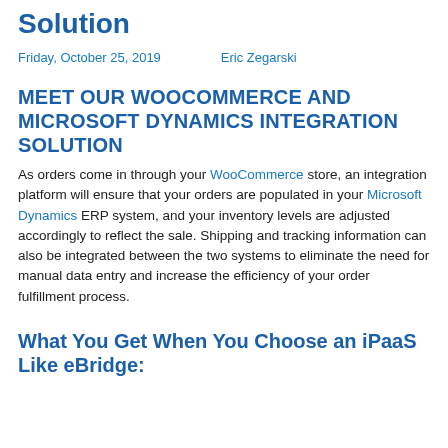Solution
Friday, October 25, 2019     Eric Zegarski
MEET OUR WOOCOMMERCE AND MICROSOFT DYNAMICS INTEGRATION SOLUTION
As orders come in through your WooCommerce store, an integration platform will ensure that your orders are populated in your Microsoft Dynamics ERP system, and your inventory levels are adjusted accordingly to reflect the sale. Shipping and tracking information can also be integrated between the two systems to eliminate the need for manual data entry and increase the efficiency of your order fulfillment process.
What You Get When You Choose an iPaaS Like eBridge: